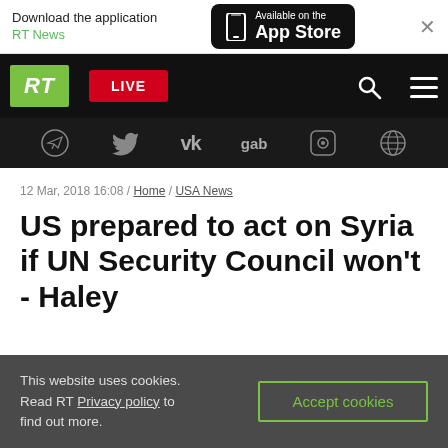[Figure (screenshot): App Store download banner with RT News branding and phone icon]
[Figure (screenshot): RT website navigation bar with logo, LIVE button, search and menu icons]
[Figure (screenshot): Social media icon bar: Telegram, Twitter, VK, gab, Rumble, and globe icon]
12 Mar, 2018 16:08 / Home / USA News
US prepared to act on Syria if UN Security Council won't - Haley
This website uses cookies. Read RT Privacy policy to find out more. Accept cookies